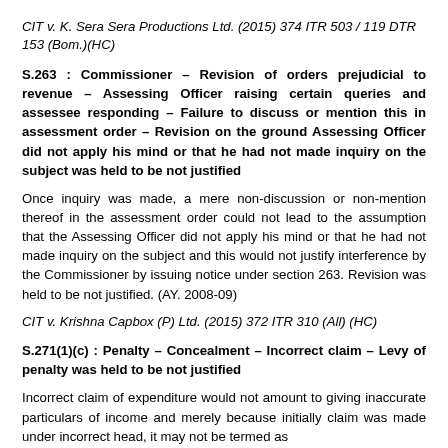CIT v. K. Sera Sera Productions Ltd. (2015) 374 ITR 503 / 119 DTR 153 (Bom.)(HC)
S.263 : Commissioner – Revision of orders prejudicial to revenue – Assessing Officer raising certain queries and assessee responding – Failure to discuss or mention this in assessment order – Revision on the ground Assessing Officer did not apply his mind or that he had not made inquiry on the subject was held to be not justified
Once inquiry was made, a mere non-discussion or non-mention thereof in the assessment order could not lead to the assumption that the Assessing Officer did not apply his mind or that he had not made inquiry on the subject and this would not justify interference by the Commissioner by issuing notice under section 263. Revision was held to be not justified. (AY. 2008-09)
CIT v. Krishna Capbox (P) Ltd. (2015) 372 ITR 310 (All) (HC)
S.271(1)(c) : Penalty – Concealment – Incorrect claim – Levy of penalty was held to be not justified
Incorrect claim of expenditure would not amount to giving inaccurate particulars of income and merely because initially claim was made under incorrect head, it may not be termed as